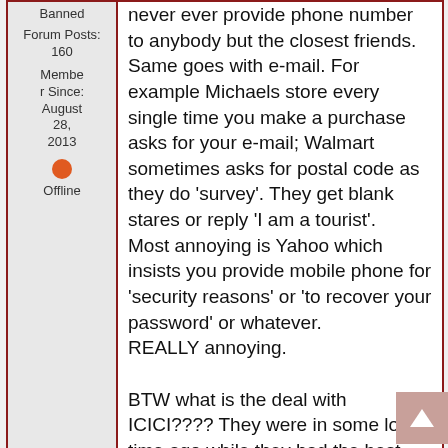Banned
Forum Posts: 160
Member Since: August 28, 2013
Offline
never ever provide phone number to anybody but the closest friends. Same goes with e-mail. For example Michaels store every single time you make a purchase asks for your e-mail; Walmart sometimes asks for postal code as they do 'survey'. They get blank stares or reply 'I am a tourist'. Most annoying is Yahoo which insists you provide mobile phone for 'security reasons' or 'to recover your password' or whatever. REALLY annoying.

BTW what is the deal with ICICI???? They were in some long time ago while they had the best rates. I dropped them when they become very close to big5. I see no point have any account with them when there is so many fin. inst. with better rates and staff who speaks English I can understand...